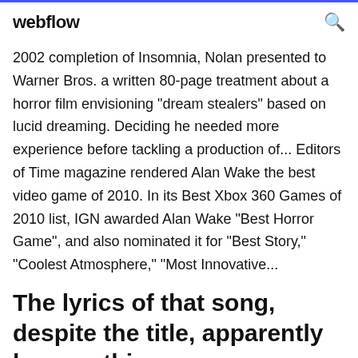webflow
2002 completion of Insomnia, Nolan presented to Warner Bros. a written 80-page treatment about a horror film envisioning "dream stealers" based on lucid dreaming. Deciding he needed more experience before tackling a production of... Editors of Time magazine rendered Alan Wake the best video game of 2010. In its Best Xbox 360 Games of 2010 list, IGN awarded Alan Wake "Best Horror Game", and also nominated it for "Best Story," "Coolest Atmosphere," "Most Innovative...
The lyrics of that song, despite the title, apparently have nothing